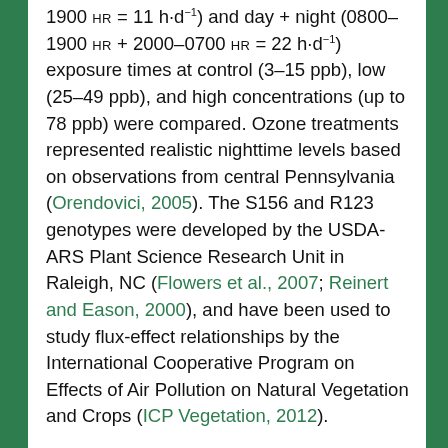1900 HR = 11 h·d⁻¹) and day + night (0800–1900 HR + 2000–0700 HR = 22 h·d⁻¹) exposure times at control (3–15 ppb), low (25–49 ppb), and high concentrations (up to 78 ppb) were compared. Ozone treatments represented realistic nighttime levels based on observations from central Pennsylvania (Orendovici, 2005). The S156 and R123 genotypes were developed by the USDA-ARS Plant Science Research Unit in Raleigh, NC (Flowers et al., 2007; Reinert and Eason, 2000), and have been used to study flux-effect relationships by the International Cooperative Program on Effects of Air Pollution on Natural Vegetation and Crops (ICP Vegetation, 2012).
Materials and Methods
The experiments were conducted within a greenhouse on the University Park campus of The Pennsylvania State University (lat. 40.805640°N, long. 77.852356°W). Ozone treatments were administered in continuous